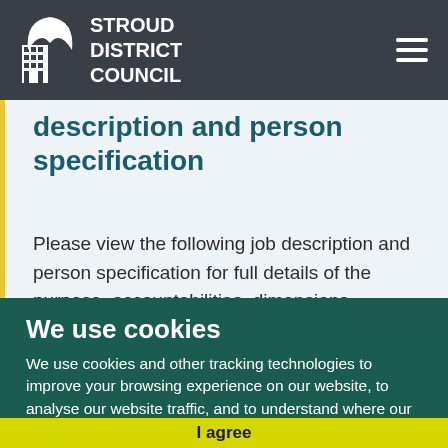Stroud District Council
description and person specification
Please view the following job description and person specification for full details of the purpose, accountabilities, dimensions
We use cookies
We use cookies and other tracking technologies to improve your browsing experience on our website, to analyse our website traffic, and to understand where our visitors are coming from.
I agree